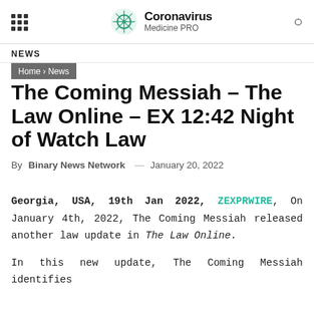Coronavirus Medicine PRO
NEWS
Home › News
The Coming Messiah – The Law Online – EX 12:42 Night of Watch Law
By Binary News Network — January 20, 2022
Georgia, USA, 19th Jan 2022, ZEXPRWIRE, On January 4th, 2022, The Coming Messiah released another law update in The Law Online.

In this new update, The Coming Messiah identifies